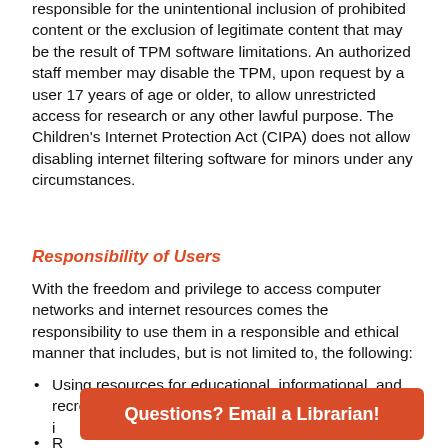responsible for the unintentional inclusion of prohibited content or the exclusion of legitimate content that may be the result of TPM software limitations. An authorized staff member may disable the TPM, upon request by a user 17 years of age or older, to allow unrestricted access for research or any other lawful purpose. The Children's Internet Protection Act (CIPA) does not allow disabling internet filtering software for minors under any circumstances.
Responsibility of Users
With the freedom and privilege to access computer networks and internet resources comes the responsibility to use them in a responsible and ethical manner that includes, but is not limited to, the following:
Using resources for educational, informational, and recreational purposes and not for unauthorized, i...
R...
Questions? Email a Librarian!